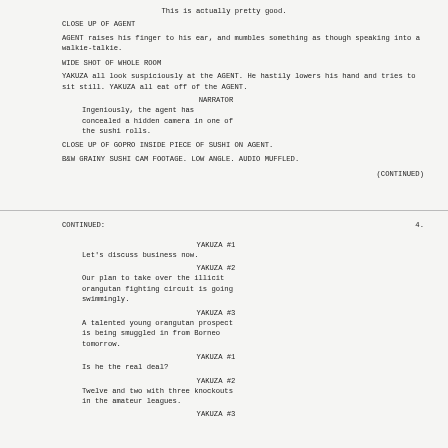This is actually pretty good.
CLOSE UP OF AGENT
AGENT raises his finger to his ear, and mumbles something as though speaking into a walkie-talkie.
WIDE SHOT OF WHOLE ROOM
YAKUZA all look suspiciously at the AGENT. He hastily lowers his hand and tries to sit still. YAKUZA all eat off of the AGENT.
NARRATOR
Ingeniously, the agent has concealed a hidden camera in one of the sushi rolls.
CLOSE UP OF GOPRO INSIDE PIECE OF SUSHI ON AGENT.
B&W GRAINY SUSHI CAM FOOTAGE. LOW ANGLE. AUDIO MUFFLED.
(CONTINUED)
CONTINUED:                                                    4.
YAKUZA #1
Let's discuss business now.
YAKUZA #2
Our plan to take over the illicit orangutan fighting circuit is going swimmingly.
YAKUZA #3
A talented young orangutan prospect is being smuggled in from Borneo tomorrow.
YAKUZA #1
Is he the real deal?
YAKUZA #2
Twelve and two with three knockouts in the amateur leagues.
YAKUZA #3